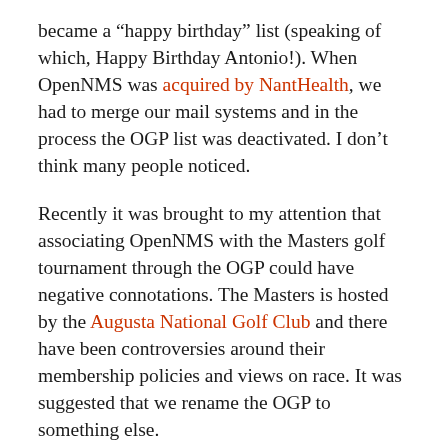became a “happy birthday” list (speaking of which, Happy Birthday Antonio!). When OpenNMS was acquired by NantHealth, we had to merge our mail systems and in the process the OGP list was deactivated. I don’t think many people noticed.
Recently it was brought to my attention that associating OpenNMS with the Masters golf tournament through the OGP could have negative connotations. The Masters is hosted by the Augusta National Golf Club and there have been controversies around their membership policies and views on race. It was suggested that we rename the OGP to something else.
One quick solution would be to just change the shade of green to, perhaps, a “stoplight” green. But this got me to thinking that the same logic used to associate the color with racism could apply to the